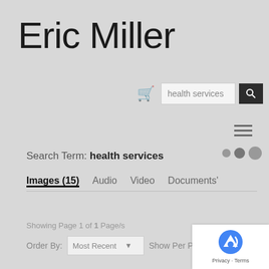Eric Miller
[Figure (screenshot): Search bar with cart icon, text field showing 'health services', and a dark search button with magnifier icon]
[Figure (other): Hamburger menu icon (three horizontal lines)]
[Figure (other): Loading dots animation (three circles of increasing size)]
Search Term: health services
Images (15)  Audio  Video  Documents'
Showing Page 1 of 1 Page/s
Order By:  Most Recent    Show Per Page  50
[Figure (logo): Google reCAPTCHA badge with logo and Privacy - Terms text]